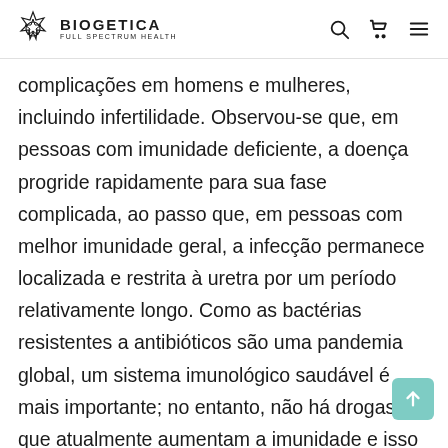BIOGETICA FULL SPECTRUM HEALTH
complicações em homens e mulheres, incluindo infertilidade. Observou-se que, em pessoas com imunidade deficiente, a doença progride rapidamente para sua fase complicada, ao passo que, em pessoas com melhor imunidade geral, a infecção permanece localizada e restrita à uretra por um período relativamente longo. Como as bactérias resistentes a antibióticos são uma pandemia global, um sistema imunológico saudável é mais importante; no entanto, não há drogas que atualmente aumentam a imunidade e isso é algo que as empresas farmacêuticas não